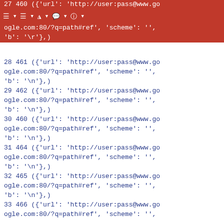27 460 ({'url': 'http://user:pass@www.google.com:80/?q=path#ref', 'scheme': '', 'b': '\r'},)
28 461 ({'url': 'http://user:pass@www.google.com:80/?q=path#ref', 'scheme': '', 'b': '\n'},)
29 462 ({'url': 'http://user:pass@www.google.com:80/?q=path#ref', 'scheme': '', 'b': '\n'},)
30 460 ({'url': 'http://user:pass@www.google.com:80/?q=path#ref', 'scheme': '', 'b': '\n'},)
31 464 ({'url': 'http://user:pass@www.google.com:80/?q=path#ref', 'scheme': '', 'b': '\n'},)
32 465 ({'url': 'http://user:pass@www.google.com:80/?q=path#ref', 'scheme': '', 'b': '\n'},)
33 466 ({'url': 'http://user:pass@www.google.com:80/?q=path#ref', 'scheme': '', 'b': '\n'},)
34 467 ({'url': 'http://user:pass@www.google.com:80/?q=path#ref', 'scheme': '', 'b': '\n'},)
35 469 ({'url': 'http://user:pass@www.google.com:80/?q=path#ref',